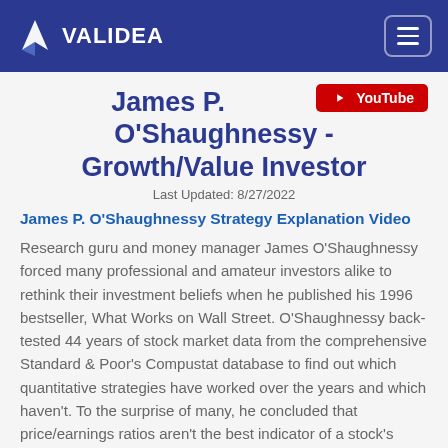VALIDEA
[Figure (logo): Validea logo with white chevron/arrow icon and VALIDEA text on dark blue header bar]
James P. O'Shaughnessy - Growth/Value Investor
Last Updated: 8/27/2022
James P. O'Shaughnessy Strategy Explanation Video
Research guru and money manager James O'Shaughnessy forced many professional and amateur investors alike to rethink their investment beliefs when he published his 1996 bestseller, What Works on Wall Street. O'Shaughnessy back-tested 44 years of stock market data from the comprehensive Standard & Poor's Compustat database to find out which quantitative strategies have worked over the years and which haven't. To the surprise of many, he concluded that price/earnings ratios aren't the best indicator of a stock's value, and that small-company